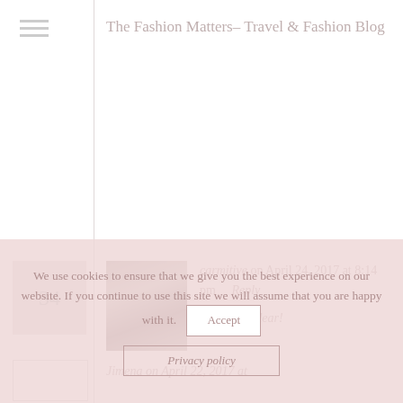The Fashion Matters– Travel & Fashion Blog
carmitive on April 24, 2017 at 8:14 pm   Reply
Thank you dear!
Jimena on April 22, 2017 at
We use cookies to ensure that we give you the best experience on our website. If you continue to use this site we will assume that you are happy with it.
Accept
Privacy policy